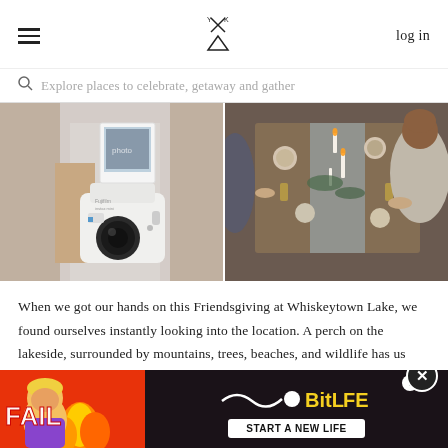log in
Explore places to celebrate, getaway and gather
[Figure (photo): Two side-by-side lifestyle photos: left shows a person holding a white Fujifilm Instax Mini camera with a Polaroid photo on top; right shows an overhead view of people seated at a long outdoor table decorated with flowers, candles, and food for a Friendsgiving gathering.]
When we got our hands on this Friendsgiving at Whiskeytown Lake, we found ourselves instantly looking into the location. A perch on the lakeside, surrounded by mountains, trees, beaches, and wildlife has us using all the heart...
[Figure (other): BitLife advertisement banner with red background, animated character with fire, FAIL text, and 'START A NEW LIFE' call to action button. Includes a close button (X) on the top right.]